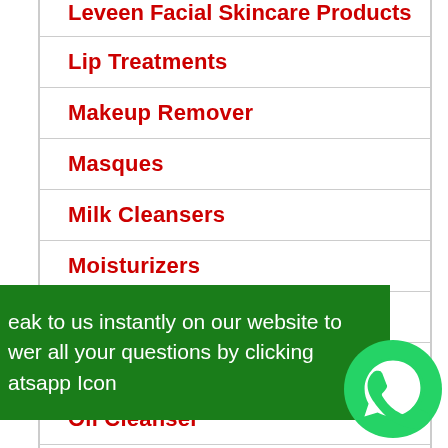Leveen Facial Skincare Products
Lip Treatments
Makeup Remover
Masques
Milk Cleansers
Moisturizers
Neck Treatments
Nourishing Creams
Oil Cleanser
eak to us instantly on our website to wer all your questions by clicking atsapp Icon
Retinol Products